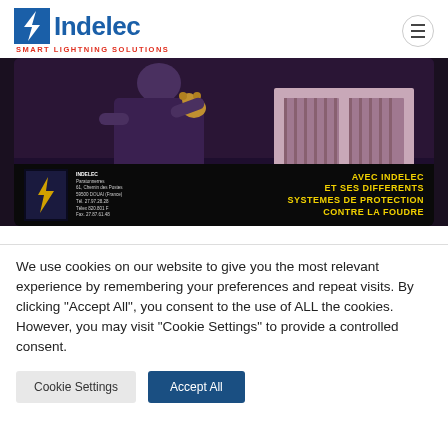[Figure (logo): Indelec logo with lightning bolt icon in blue, company name 'Indelec' in blue, tagline 'SMART LIGHTNING SOLUTIONS' in red]
[Figure (illustration): Banner image showing a cartoon/illustrated scene with a dark background, and an overlay strip at the bottom with contact info and the text 'AVEC INDELEC ET SES DIFFERENTS SYSTEMES DE PROTECTION CONTRE LA FOUDRE' in yellow on black]
We use cookies on our website to give you the most relevant experience by remembering your preferences and repeat visits. By clicking "Accept All", you consent to the use of ALL the cookies. However, you may visit "Cookie Settings" to provide a controlled consent.
Cookie Settings | Accept All